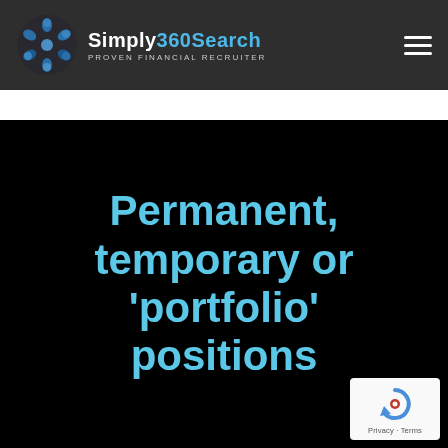Simply360Search — PROVEN FINANCIAL RECRUITER
Permanent, temporary or 'portfolio' positions
[Figure (logo): reCAPTCHA badge with circular arrow icon and text 'Privacy - Terms']